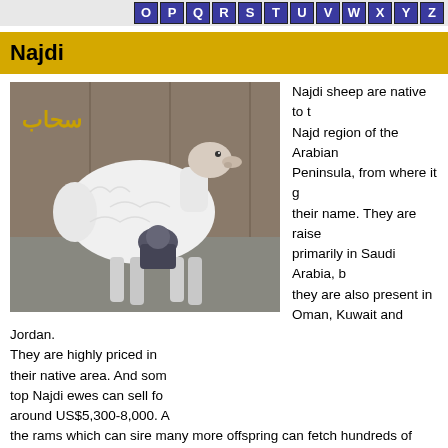O P Q R S T U V W X Y Z
Najdi
[Figure (photo): A white Najdi sheep standing indoors with Arabic text 'سحاب' (Sahab) in yellow visible on the upper left of the photo. A person kneels behind the animal.]
Najdi sheep are native to the Najd region of the Arabian Peninsula, from where it get their name. They are raised primarily in Saudi Arabia, but they are also present in Oman, Kuwait and Jordan. They are highly priced in their native area. And some top Najdi ewes can sell for around US$5,300-8,000. And the rams which can sire many more offspring can fetch hundreds of thousands. Najdi sheep are very important animals in their native area, and also in the areas where they are found.
Najdi sheep are very beautiful. They have a distinctive appearance that has even been celebrated in Saudi sheep beauty pageants not unlike livestock